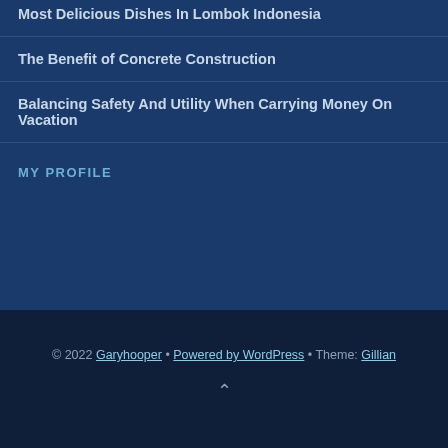Most Delicious Dishes In Lombok Indonesia
The Benefit of Concrete Construction
Balancing Safety And Utility When Carrying Money On Vacation
MY PROFILE
© 2022 Garyhooper • Powered by WordPress • Theme: Gillian